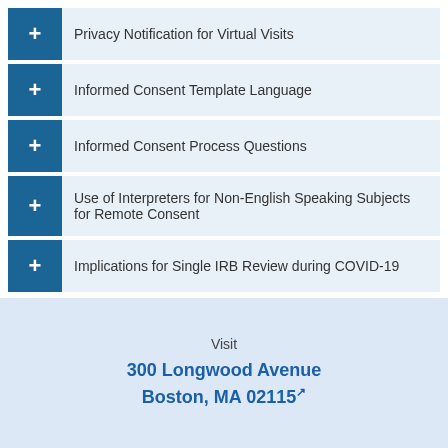Privacy Notification for Virtual Visits
Informed Consent Template Language
Informed Consent Process Questions
Use of Interpreters for Non-English Speaking Subjects for Remote Consent
Implications for Single IRB Review during COVID-19
Visit
300 Longwood Avenue
Boston, MA 02115